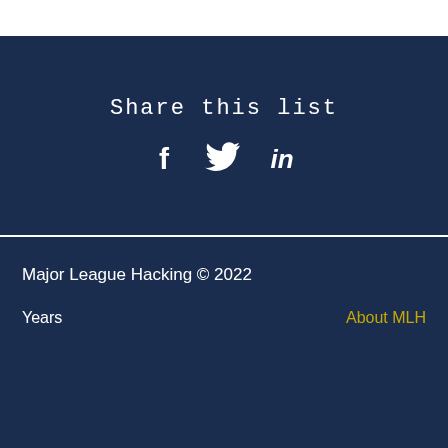Share this list
[Figure (infographic): Social media share icons: Facebook (f), Twitter (bird), LinkedIn (in)]
Major League Hacking © 2022
Years
About MLH